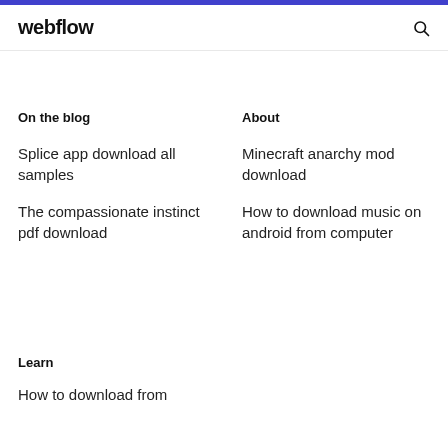webflow
On the blog
About
Splice app download all samples
Minecraft anarchy mod download
The compassionate instinct pdf download
How to download music on android from computer
Learn
How to download from